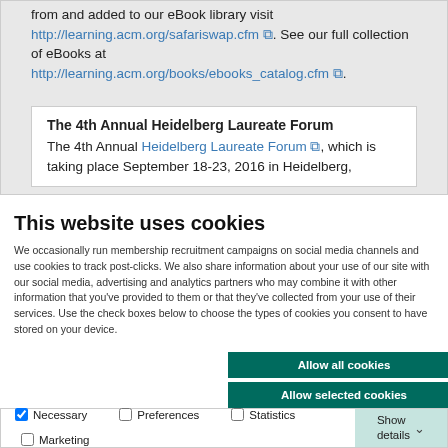from and added to our eBook library visit http://learning.acm.org/safariswap.cfm. See our full collection of eBooks at http://learning.acm.org/books/ebooks_catalog.cfm.
The 4th Annual Heidelberg Laureate Forum
The 4th Annual Heidelberg Laureate Forum, which is taking place September 18-23, 2016 in Heidelberg,
This website uses cookies
We occasionally run membership recruitment campaigns on social media channels and use cookies to track post-clicks. We also share information about your use of our site with our social media, advertising and analytics partners who may combine it with other information that you've provided to them or that they've collected from your use of their services. Use the check boxes below to choose the types of cookies you consent to have stored on your device.
Allow all cookies
Allow selected cookies
Use necessary cookies only
Necessary  Preferences  Statistics  Marketing  Show details